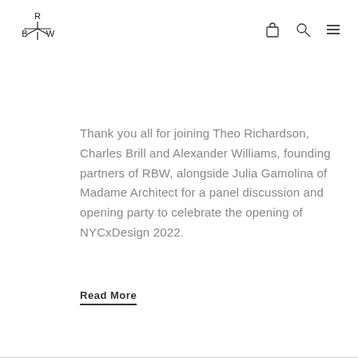RBW logo with bag, search, and menu icons
Thank you all for joining Theo Richardson, Charles Brill and Alexander Williams, founding partners of RBW, alongside Julia Gamolina of Madame Architect for a panel discussion and opening party to celebrate the opening of NYCxDesign 2022.
Read More